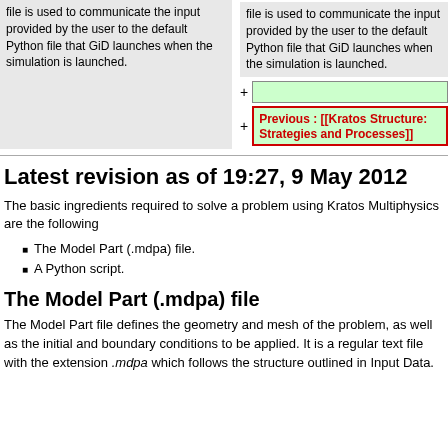file is used to communicate the input provided by the user to the default Python file that GiD launches when the simulation is launched.
file is used to communicate the input provided by the user to the default Python file that GiD launches when the simulation is launched.
(empty green box)
Previous : [[Kratos Structure: Strategies and Processes]]
Latest revision as of 19:27, 9 May 2012
The basic ingredients required to solve a problem using Kratos Multiphysics are the following
The Model Part (.mdpa) file.
A Python script.
The Model Part (.mdpa) file
The Model Part file defines the geometry and mesh of the problem, as well as the initial and boundary conditions to be applied. It is a regular text file with the extension .mdpa which follows the structure outlined in Input Data.